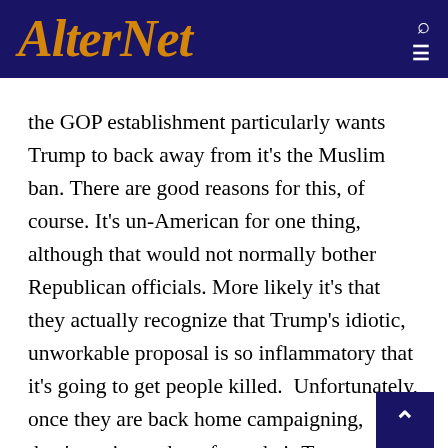AlterNet
the GOP establishment particularly wants Trump to back away from it's the Muslim ban. There are good reasons for this, of course. It's un-American for one thing, although that would not normally bother Republican officials. More likely it's that they actually recognize that Trump's idiotic, unworkable proposal is so inflammatory that it's going to get people killed.  Unfortunately, once they are back home campaigning, they're going to hear from their Trump-loving constituents that this is one of their favorite policies. If these officials have any